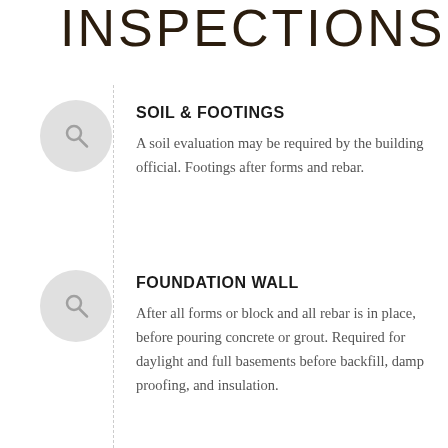INSPECTIONS
SOIL & FOOTINGS
A soil evaluation may be required by the building official. Footings after forms and rebar.
FOUNDATION WALL
After all forms or block and all rebar is in place, before pouring concrete or grout. Required for daylight and full basements before backfill, damp proofing, and insulation.